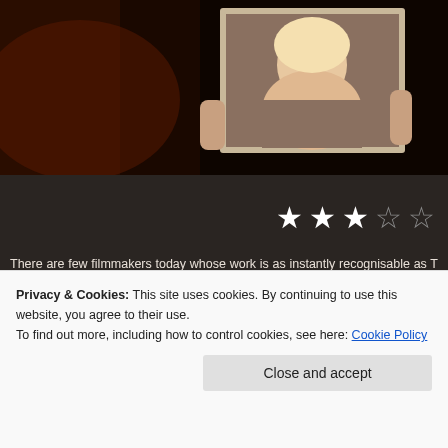[Figure (photo): Dark photo of hands holding a framed portrait/painting of a woman, against a dark reddish-brown background]
[Figure (other): 3 out of 5 star rating displayed as white stars on dark background]
There are few filmmakers today whose work is as instantly recognisable as T recent back catalogue will reveal recurring themes, gothic aesthetics, and the frequently Johnny Depp and Helena Bonham Carter – often backed by a Dann are a couple of Burton-isms here and there Big Eyes is very much unlike the di surprisingly complex piece of work which suggests he should step out of his wei more often.
Privacy & Cookies: This site uses cookies. By continuing to use this website, you agree to their use.
To find out more, including how to control cookies, see here: Cookie Policy
Close and accept